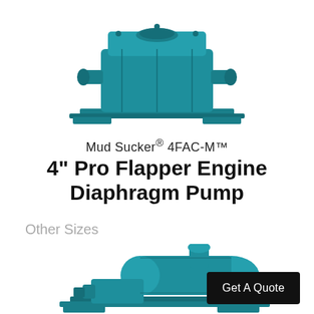[Figure (photo): Teal/blue Mud Sucker 4FAC-M diaphragm pump viewed from above-front angle, showing the rectangular pump body with inlet/outlet ports and mounting base plate]
Mud Sucker® 4FAC-M™
4" Pro Flapper Engine Diaphragm Pump
Other Sizes
[Figure (photo): Teal/blue diaphragm pump of a different (larger) size, showing horizontal cylindrical engine body with elbow piping and mounting skid frame, viewed from a three-quarter angle]
Get A Quote